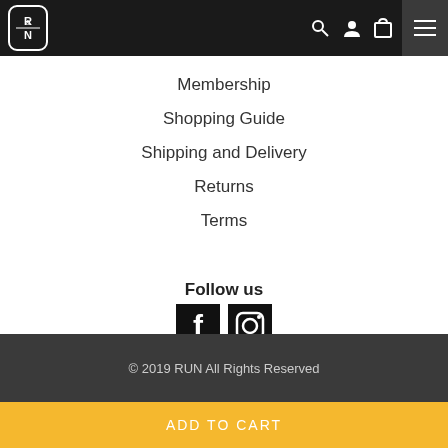[Figure (logo): R&N logo in white on black rounded rectangle, navigation bar with search, user, cart icons and hamburger menu]
Membership
Shopping Guide
Shipping and Delivery
Returns
Terms
Follow us
[Figure (illustration): Facebook and Instagram social media icons in black square backgrounds]
© 2019 RUN All Rights Reserved
ADD TO CART